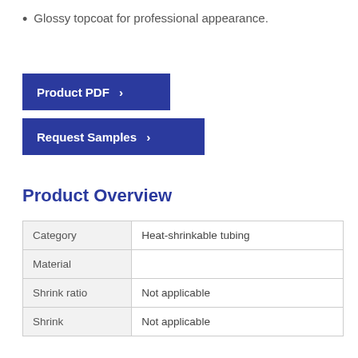Glossy topcoat for professional appearance.
[Figure (other): Blue button: Product PDF >]
[Figure (other): Blue button: Request Samples >]
Product Overview
| Category |  |
| --- | --- |
| Category | Heat-shrinkable tubing |
| Material |  |
| Shrink ratio | Not applicable |
| Shrink | Not applicable |